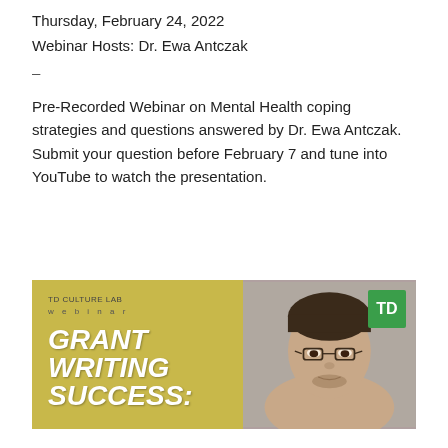Thursday, February 24, 2022
Webinar Hosts: Dr. Ewa Antczak
–
Pre-Recorded Webinar on Mental Health coping strategies and questions answered by Dr. Ewa Antczak. Submit your question before February 7 and tune into YouTube to watch the presentation.
[Figure (photo): TD Culture Lab webinar promotional image for Grant Writing Success featuring a man with glasses and the TD logo on a green background]